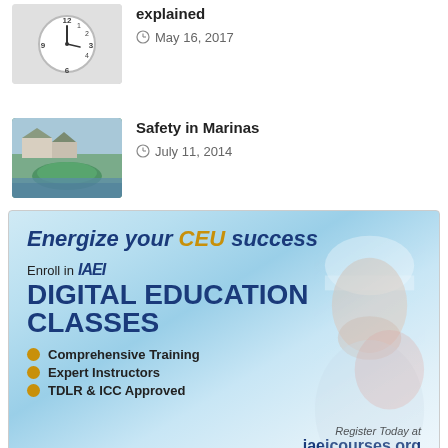[Figure (photo): Thumbnail image of clock face with numbers]
explained
May 16, 2017
[Figure (photo): Thumbnail image of marina with boats and waterfront buildings]
Safety in Marinas
July 11, 2014
[Figure (infographic): IAEI advertisement: Energize your CEU success. Enroll in IAEI Digital Education Classes. Comprehensive Training. Expert Instructors. TDLR & ICC Approved. Register Today at iaeicourses.org]